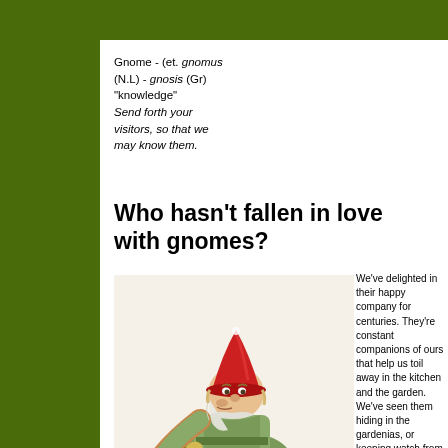Gnome - (et. gnomus (N.L) - gnosis (Gr) "knowledge" Send forth your visitors, so that we may know them.
Who hasn't fallen in love with gnomes?
[Figure (photo): A ceramic garden gnome figurine playing a horn/trumpet, wearing a red hat and green outfit]
We've delighted in their happy company for centuries. They're constant companions of ours that help us toil away in the kitchen and the garden. We've seen them hiding in the gardenias, or keeping watch from the curios for generations. These light hearted souls have brought countless smiles to happy homes everywhere.
These cheery little sprits were first discovered by the famed Swiss scientist Theophrastus Bombastus von Hohenheim and in the early 1400s.